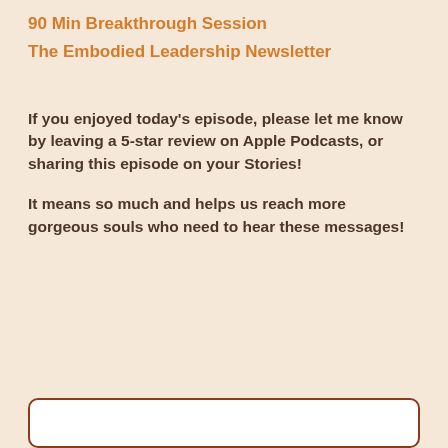90 Min Breakthrough Session
The Embodied Leadership Newsletter
If you enjoyed today's episode, please let me know by leaving a 5-star review on Apple Podcasts, or sharing this episode on your Stories!
It means so much and helps us reach more gorgeous souls who need to hear these messages!